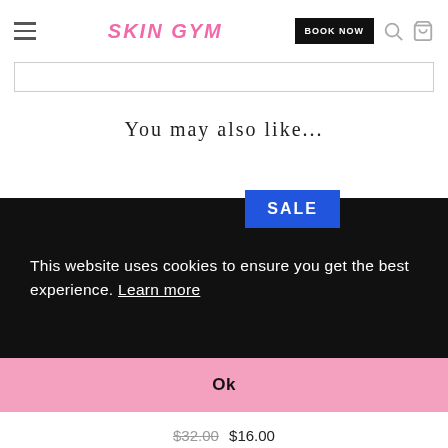SKIN GYM
You may also like...
[Figure (photo): A rose quartz facial roller or gua sha tool product image with a SALE badge overlay]
This website uses cookies to ensure you get the best experience. Learn more
Ok
$32.00 $16.00